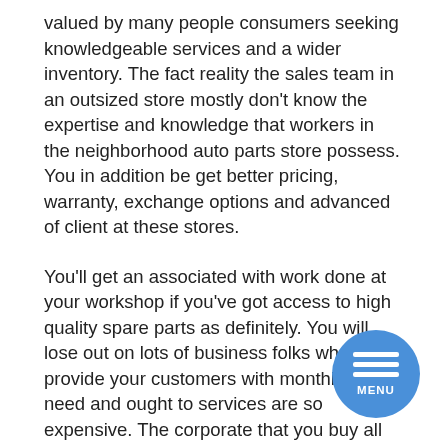valued by many people consumers seeking knowledgeable services and a wider inventory. The fact reality the sales team in an outsized store mostly don't know the expertise and knowledge that workers in the neighborhood auto parts store possess. You in addition be get better pricing, warranty, exchange options and advanced of client at these stores.
You'll get an associated with work done at your workshop if you've got access to high quality spare parts as definitely. You will lose out on lots of business folks who wants provide your customers with monthly they need and ought to services are so expensive. The corporate that you buy all your tires garage equipments and spares from should be able to ship the goods will need to with a very short time. This will ensure can never to be able to from any repair jobs.